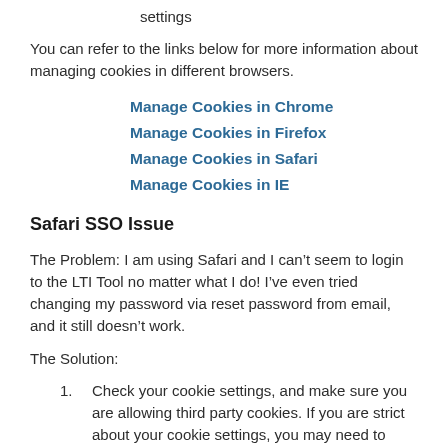settings
You can refer to the links below for more information about managing cookies in different browsers.
Manage Cookies in Chrome
Manage Cookies in Firefox
Manage Cookies in Safari
Manage Cookies in IE
Safari SSO Issue
The Problem: I am using Safari and I can't seem to login to the LTI Tool no matter what I do! I've even tried changing my password via reset password from email, and it still doesn't work.
The Solution:
Check your cookie settings, and make sure you are allowing third party cookies. If you are strict about your cookie settings, you may need to whitelist